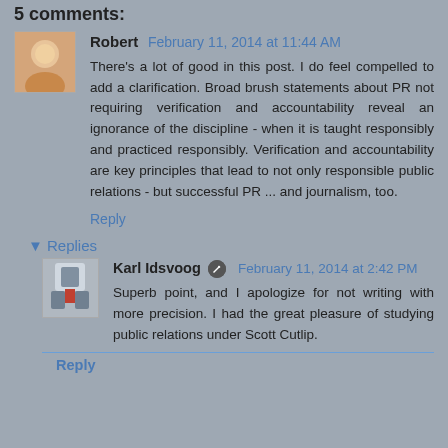5 comments:
Robert  February 11, 2014 at 11:44 AM
There's a lot of good in this post. I do feel compelled to add a clarification. Broad brush statements about PR not requiring verification and accountability reveal an ignorance of the discipline - when it is taught responsibly and practiced responsibly. Verification and accountability are key principles that lead to not only responsible public relations - but successful PR ... and journalism, too.
Reply
▼ Replies
Karl Idsvoog  February 11, 2014 at 2:42 PM
Superb point, and I apologize for not writing with more precision. I had the great pleasure of studying public relations under Scott Cutlip.
Reply